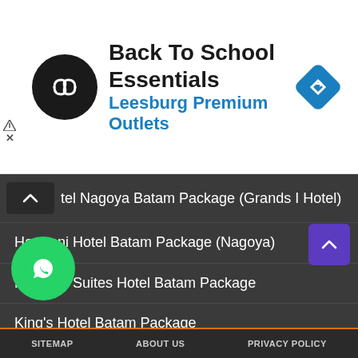[Figure (advertisement): Ad banner for Back To School Essentials at Leesburg Premium Outlets with circular logo and navigation arrow icon]
tel Nagoya Batam Package (Grands I Hotel)
Harmoni Hotel Batam Package (Nagoya)
Harmoni Suites Hotel Batam Package
King's Hotel Batam Package
Nagoya Hill Hotel Batam Package
Nagoya Mansion Hotel Batam Package
Nagoya Plasa Hotel Batam Package
Planet Holiday Hotel Batam Package
ills Hotel Batam Package
Hotel Batam Package
SITEMAP   ABOUT US   PRIVACY POLICY